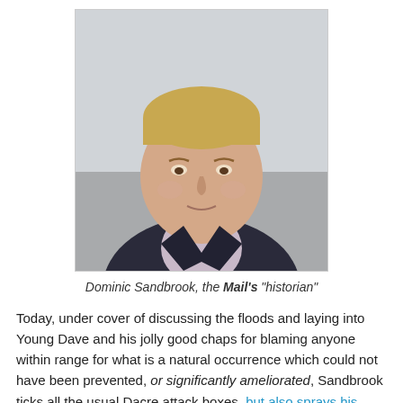[Figure (photo): Portrait photo of Dominic Sandbrook, a middle-aged man wearing a dark jacket and open-collar shirt, photographed outdoors with a blurred background.]
Dominic Sandbrook, the Mail's "historian"
Today, under cover of discussing the floods and laying into Young Dave and his jolly good chaps for blaming anyone within range for what is a natural occurrence which could not have been prevented, or significantly ameliorated, Sandbrook ticks all the usual Dacre attack boxes, but also sprays his credibility up the wall by citing the so-called Taxpayers' Alliance (TPA) as a reliable source. Wrong.